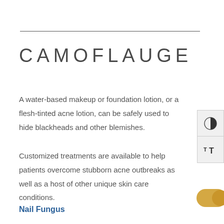CAMOFLAUGE
A water-based makeup or foundation lotion, or a flesh-tinted acne lotion, can be safely used to hide blackheads and other blemishes.
Customized treatments are available to help patients overcome stubborn acne outbreaks as well as a host of other unique skin care conditions.
Nail Fungus